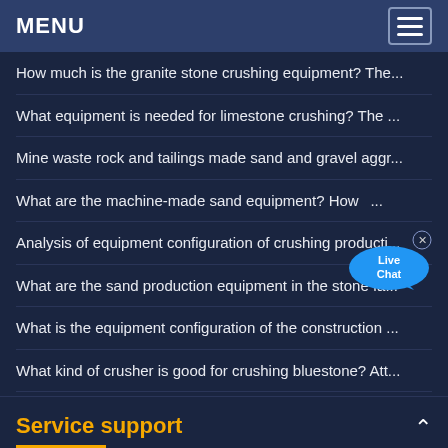MENU
How much is the granite stone crushing equipment? The...
What equipment is needed for limestone crushing? The ...
Mine waste rock and tailings made sand and gravel aggr...
What are the machine-made sand equipment? How...
Analysis of equipment configuration of crushing producti...
What are the sand production equipment in the stone fa...
What is the equipment configuration of the construction ...
What kind of crusher is good for crushing bluestone? Att...
Service support
[Figure (screenshot): Bottom partial image frame, light colored, partially visible]